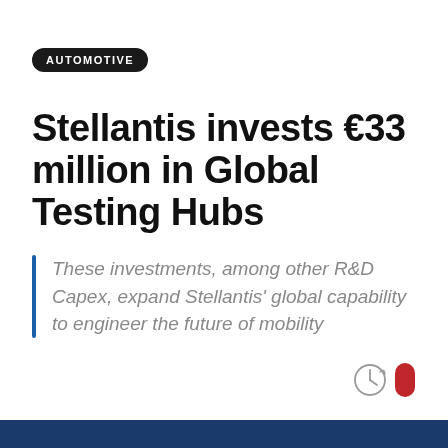AUTOMOTIVE
Stellantis invests €33 million in Global Testing Hubs
These investments, among other R&D Capex, expand Stellantis' global capability to engineer the future of mobility
[Figure (logo): Clock/time icon and red pill-shaped icon in bottom right corner]